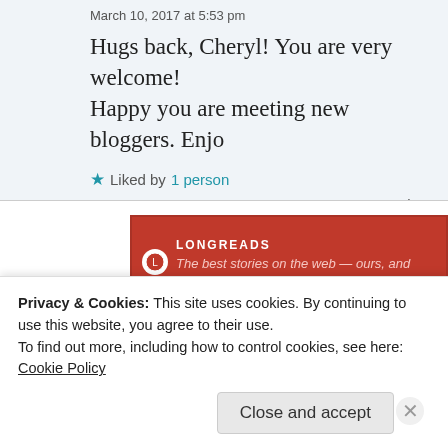March 10, 2017 at 5:53 pm
Hugs back, Cheryl! You are very welcome! Happy you are meeting new bloggers. Enjo
★ Liked by 1 person
Reply
[Figure (other): Longreads advertisement banner: red background with logo circle, text 'LONGREADS' and 'The best stories on the web — ours, and everyo']
[Figure (photo): Small avatar photo of commenter vanhytheriver]
vanhytheriver says:
Privacy & Cookies: This site uses cookies. By continuing to use this website, you agree to their use.
To find out more, including how to control cookies, see here: Cookie Policy
Close and accept